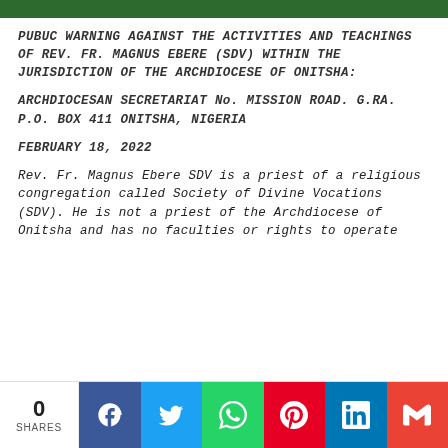PUBUC WARNING AGAINST THE ACTIVITIES AND TEACHINGS OF REV. FR. MAGNUS EBERE (SDV) WITHIN THE JURISDICTION OF THE ARCHDIOCESE OF ONITSHA:
ARCHDIOCESAN SECRETARIAT No. MISSION ROAD. G.RA. P.O. BOX 411 ONITSHA, NIGERIA
FEBRUARY 18, 2022
Rev. Fr. Magnus Ebere SDV is a priest of a religious congregation called Society of Divine Vocations (SDV). He is not a priest of the Archdiocese of Onitsha and has no faculties or rights to operate
0 SHARES